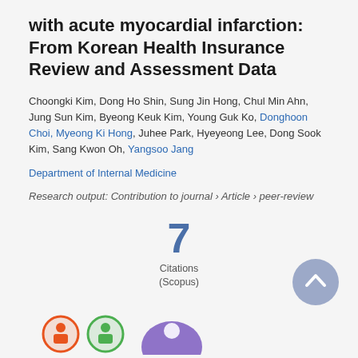with acute myocardial infarction: From Korean Health Insurance Review and Assessment Data
Choongki Kim, Dong Ho Shin, Sung Jin Hong, Chul Min Ahn, Jung Sun Kim, Byeong Keuk Kim, Young Guk Ko, Donghoon Choi, Myeong Ki Hong, Juhee Park, Hyeyeong Lee, Dong Sook Kim, Sang Kwon Oh, Yangsoo Jang
Department of Internal Medicine
Research output: Contribution to journal › Article › peer-review
[Figure (infographic): Citation count badge showing 7 Citations (Scopus)]
[Figure (infographic): Scroll-to-top button (grey circle with upward chevron) and metric icons at bottom]